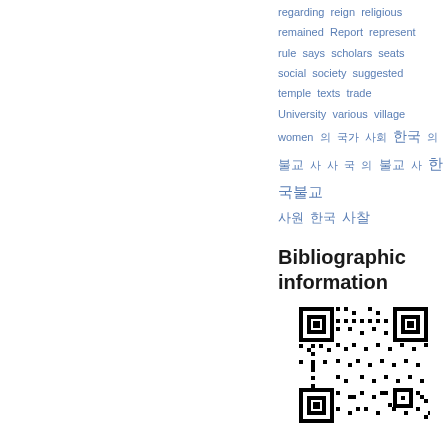regarding reign religious remained Report represent rule says scholars seats social society suggested temple texts trade University various village women 의 국가 사회 한국 의 사 국 의 불교 사 사 사 사 불교 사 한국불교 사원 한국 사찰
Bibliographic information
[Figure (other): QR code for bibliographic information]